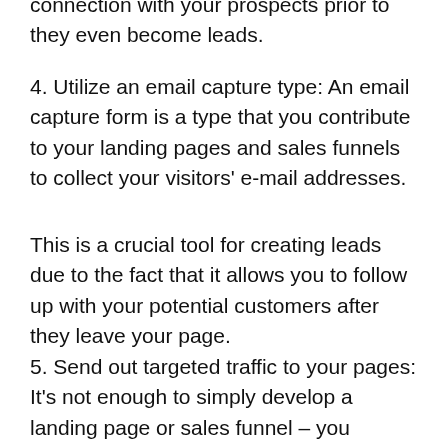connection with your prospects prior to they even become leads.
4. Utilize an email capture type: An email capture form is a type that you contribute to your landing pages and sales funnels to collect your visitors' e-mail addresses.
This is a crucial tool for creating leads due to the fact that it allows you to follow up with your potential customers after they leave your page.
5. Send out targeted traffic to your pages: It's not enough to simply develop a landing page or sales funnel – you likewise require to send targeted traffic to it.